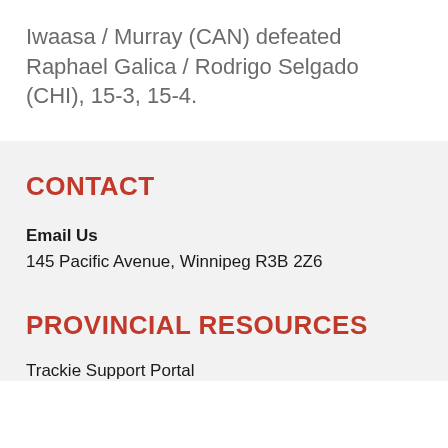Iwaasa / Murray (CAN) defeated Raphael Galica / Rodrigo Selgado (CHI), 15-3, 15-4.
CONTACT
Email Us
145 Pacific Avenue, Winnipeg R3B 2Z6
PROVINCIAL RESOURCES
Trackie Support Portal